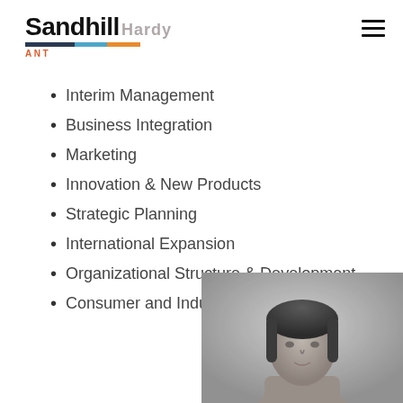Sandhill | Kurt Hardy
Interim Management
Business Integration
Marketing
Innovation & New Products
Strategic Planning
International Expansion
Organizational Structure & Development
Consumer and Industrial
[Figure (photo): Black and white headshot photo of a person (Kurt Hardy), cropped showing head and upper shoulders, appearing in the bottom right of the page.]